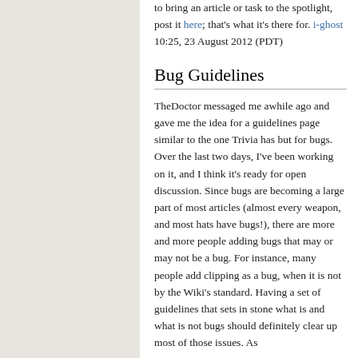to bring an article or task to the spotlight, post it here; that's what it's there for. i-ghost 10:25, 23 August 2012 (PDT)
Bug Guidelines
TheDoctor messaged me awhile ago and gave me the idea for a guidelines page similar to the one Trivia has but for bugs. Over the last two days, I've been working on it, and I think it's ready for open discussion. Since bugs are becoming a large part of most articles (almost every weapon, and most hats have bugs!), there are more and more people adding bugs that may or may not be a bug. For instance, many people add clipping as a bug, when it is not by the Wiki's standard. Having a set of guidelines that sets in stone what is and what is not bugs should definitely clear up most of those issues. As